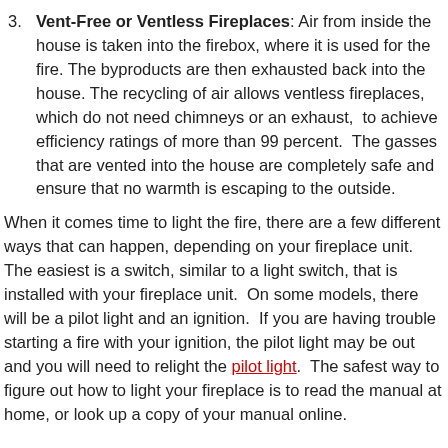3. Vent-Free or Ventless Fireplaces: Air from inside the house is taken into the firebox, where it is used for the fire. The byproducts are then exhausted back into the house. The recycling of air allows ventless fireplaces, which do not need chimneys or an exhaust, to achieve efficiency ratings of more than 99 percent. The gasses that are vented into the house are completely safe and ensure that no warmth is escaping to the outside.
When it comes time to light the fire, there are a few different ways that can happen, depending on your fireplace unit. The easiest is a switch, similar to a light switch, that is installed with your fireplace unit. On some models, there will be a pilot light and an ignition. If you are having trouble starting a fire with your ignition, the pilot light may be out and you will need to relight the pilot light. The safest way to figure out how to light your fireplace is to read the manual at home, or look up a copy of your manual online.